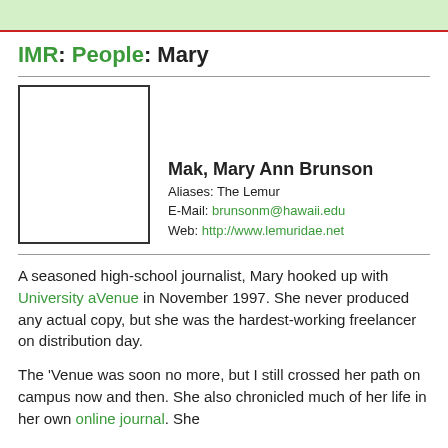IMR: People: Mary
[Figure (photo): Empty white photo placeholder box with black border]
Mak, Mary Ann Brunson
Aliases: The Lemur
E-Mail: brunsonm@hawaii.edu
Web: http://www.lemuridae.net
A seasoned high-school journalist, Mary hooked up with University aVenue in November 1997. She never produced any actual copy, but she was the hardest-working freelancer on distribution day.
The 'Venue was soon no more, but I still crossed her path on campus now and then. She also chronicled much of her life in her own online journal. She